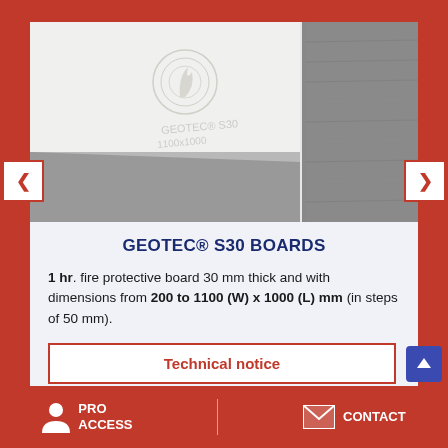[Figure (photo): Product photo of GEOTEC S30 boards showing a white fire protective board with embossed logo and text, alongside a dark grey board edge view]
GEOTEC® S30 BOARDS
1 hr. fire protective board 30 mm thick and with dimensions from 200 to 1100 (W) x 1000 (L) mm (in steps of 50 mm).
Technical notice
PRO ACCESS   CONTACT